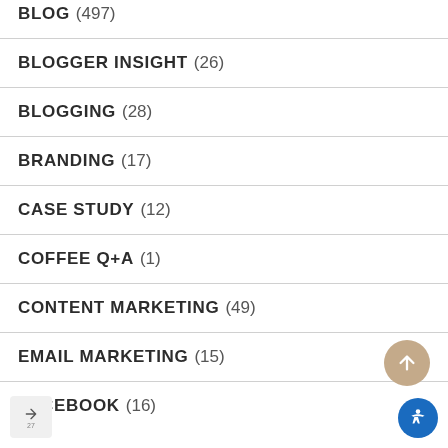BLOG (497)
BLOGGER INSIGHT (26)
BLOGGING (28)
BRANDING (17)
CASE STUDY (12)
COFFEE Q+A (1)
CONTENT MARKETING (49)
EMAIL MARKETING (15)
FACEBOOK (16)